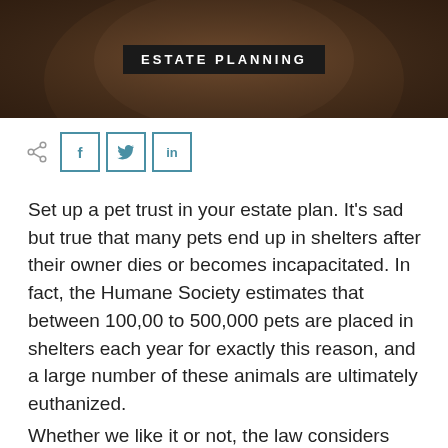[Figure (photo): Close-up photo of a dog's face (brown/tan coloring) with dark background]
ESTATE PLANNING
[Figure (infographic): Share/social media buttons: share icon, Facebook (f), Twitter (bird), LinkedIn (in)]
Set up a pet trust in your estate plan. It's sad but true that many pets end up in shelters after their owner dies or becomes incapacitated. In fact, the Humane Society estimates that between 100,00 to 500,000 pets are placed in shelters each year for exactly this reason, and a large number of these animals are ultimately euthanized.
Whether we like it or not, the law considers